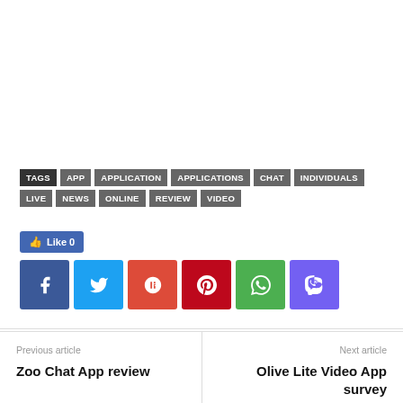TAGS APP APPLICATION APPLICATIONS CHAT INDIVIDUALS LIVE NEWS ONLINE REVIEW VIDEO
[Figure (infographic): Social share buttons: Like 0 (Facebook like button), Facebook, Twitter, Google+, Pinterest, WhatsApp, Viber icons]
Previous article
Zoo Chat App review
Next article
Olive Lite Video App survey